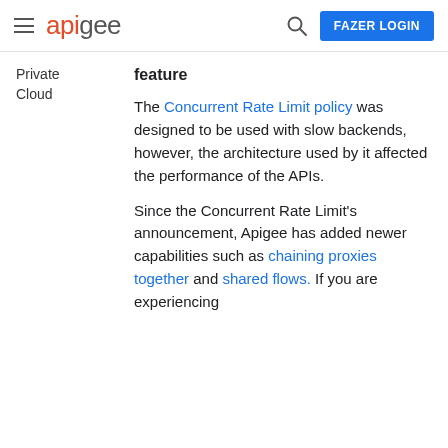apigee | FAZER LOGIN
Private Cloud
feature
The Concurrent Rate Limit policy was designed to be used with slow backends, however, the architecture used by it affected the performance of the APIs.
Since the Concurrent Rate Limit's announcement, Apigee has added newer capabilities such as chaining proxies together and shared flows. If you are experiencing